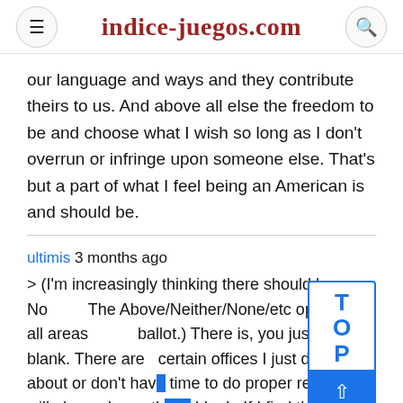indice-juegos.com
our language and ways and they contribute theirs to us. And above all else the freedom to be and choose what I wish so long as I don't overrun or infringe upon someone else. That's but a part of what I feel being an American is and should be.
ultimis 3 months ago
> (I'm increasingly thinking there should be a None of The Above/Neither/None/etc option on all areas of the ballot.) There is, you just leave it blank. There are certain offices I just don't care about or don't have time to do proper research. I will always leave those blank. If I find the time to research them and they all suck, I'll also leave them blanks. Perhaps you are